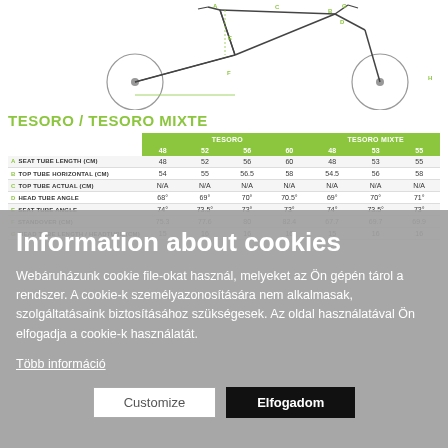[Figure (engineering-diagram): Bicycle geometry side-view diagram with labeled measurement lines (A, B, C, D, E, F, G, H) showing various tube lengths and angles.]
TESORO / TESORO MIXTE
| ['', 'TESORO', '', '', '', 'TESORO MIXTE', '', ''] | ['', '48', '52', '56', '60', '48', '53', '55'] |
| --- | --- |
| A  SEAT TUBE LENGTH (CM) | 48 | 52 | 56 | 60 | 48 | 53 | 55 |
| B  TOP TUBE HORIZONTAL (CM) | 54 | 55 | 56.5 | 58 | 54.5 | 56 | 58 |
| C  TOP TUBE ACTUAL (CM) | N/A | N/A | N/A | N/A | N/A | N/A | N/A |
| D  HEAD TUBE ANGLE | 68° | 69° | 70° | 70.5° | 69° | 70° | 71° |
| E  SEAT TUBE ANGLE | 74° | 73.5° | 73° | 73° | 74° | 73.5° | 73° |
| F  STANDOVER (CM) | 75.3 | 77.6 | 80 | 82.4 | 67.7 | 69.7 | 69.9 |
| G  HEAD TUBE LENGTH / HEADTUBE (CM) | 15 | 16 | 16 | 16 | 15 | 16 | 16 |
Information about cookies
Webáruházunk cookie file-okat használ, melyeket az Ön gépén tárol a rendszer. A cookie-k személyazonosítására nem alkalmasak, szolgáltatásaink biztosításához szükségesek. Az oldal használatával Ön elfogadja a cookie-k használatát.
Több információ
Customize
Elfogadom